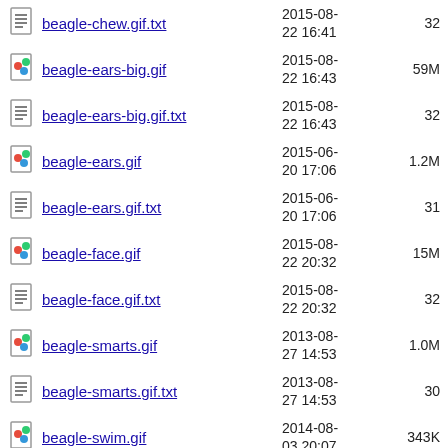beagle-chew.gif.txt  2015-08-22 16:41  32
beagle-ears-big.gif  2015-08-22 16:43  59M
beagle-ears-big.gif.txt  2015-08-22 16:43  32
beagle-ears.gif  2015-06-20 17:06  1.2M
beagle-ears.gif.txt  2015-06-20 17:06  31
beagle-face.gif  2015-08-22 20:32  15M
beagle-face.gif.txt  2015-08-22 20:32  32
beagle-smarts.gif  2013-08-27 14:53  1.0M
beagle-smarts.gif.txt  2013-08-27 14:53  30
beagle-swim.gif  2014-08-03 20:07  343K
beagle-swim.gif.txt  2014-08-03 20:07  95